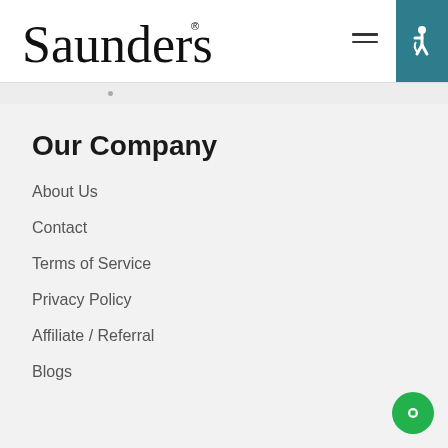Saunders®
Our Company
About Us
Contact
Terms of Service
Privacy Policy
Affiliate / Referral
Blogs